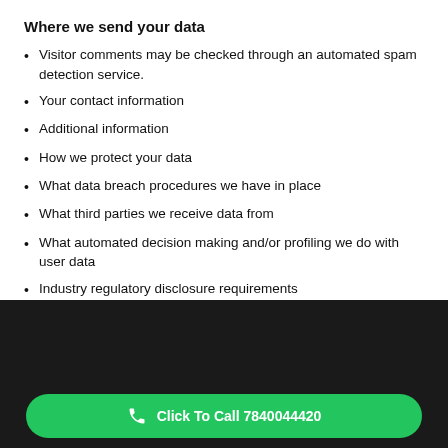Where we send your data
Visitor comments may be checked through an automated spam detection service.
Your contact information
Additional information
How we protect your data
What data breach procedures we have in place
What third parties we receive data from
What automated decision making and/or profiling we do with user data
Industry regulatory disclosure requirements
Quick Links | Get A Quote | Click To Call 7840044420